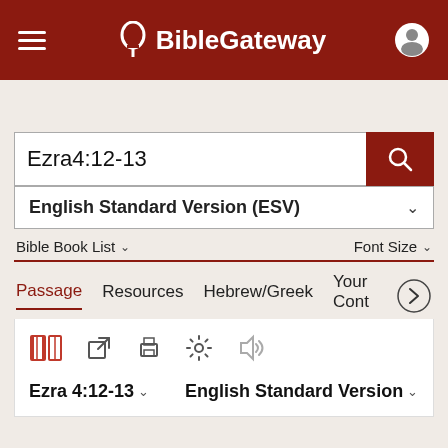BibleGateway
Ezra4:12-13
English Standard Version (ESV)
Bible Book List
Font Size
Passage   Resources   Hebrew/Greek   Your Cont
Ezra 4:12-13   English Standard Version